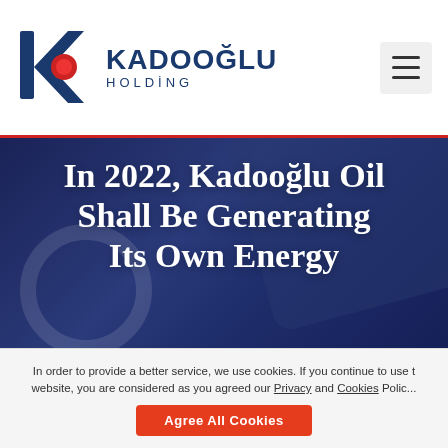[Figure (logo): Kadooğlu Holding logo with blue 'K' and red circle icon]
In 2022, Kadooğlu Oil Shall Be Generating Its Own Energy
[Figure (photo): Dark blue hero background image showing a tablet device on a wooden surface]
In order to provide a better service, we use cookies. If you continue to use the website, you are considered as you agreed our Privacy and Cookies Policy.
Agree All Cookies